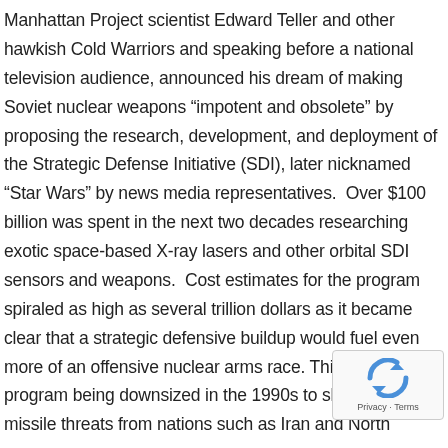Manhattan Project scientist Edward Teller and other hawkish Cold Warriors and speaking before a national television audience, announced his dream of making Soviet nuclear weapons “impotent and obsolete” by proposing the research, development, and deployment of the Strategic Defense Initiative (SDI), later nicknamed “Star Wars” by news media representatives.  Over $100 billion was spent in the next two decades researching exotic space-based X-ray lasers and other orbital SDI sensors and weapons.  Cost estimates for the program spiraled as high as several trillion dollars as it became clear that a strategic defensive buildup would fuel even more of an offensive nuclear arms race. This led to the program being downsized in the 1990s to shorter-range missile threats from nations such as Iran and North
[Figure (other): reCAPTCHA verification widget overlay in bottom-right corner showing the reCAPTCHA logo and 'Privacy - Terms' text]